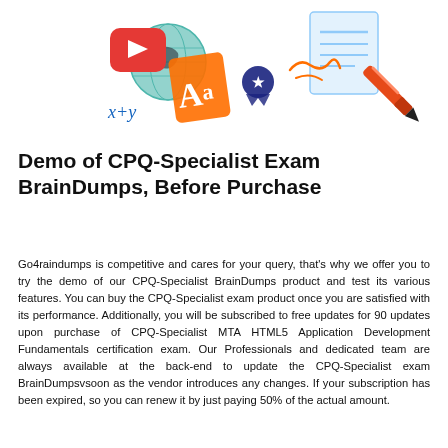[Figure (illustration): Colorful illustration showing educational icons: a red YouTube-style play button, a globe, an orange letter A font icon, a math formula x+y, a dark blue ribbon/award badge, an orange cursive signature, a document with lines, and an orange fountain pen.]
Demo of CPQ-Specialist Exam BrainDumps, Before Purchase
Go4raindumps is competitive and cares for your query, that’s why we offer you to try the demo of our CPQ-Specialist BrainDumps product and test its various features. You can buy the CPQ-Specialist exam product once you are satisfied with its performance. Additionally, you will be subscribed to free updates for 90 updates upon purchase of CPQ-Specialist MTA HTML5 Application Development Fundamentals certification exam. Our Professionals and dedicated team are always available at the back-end to update the CPQ-Specialist exam BrainDumpsvsoon as the vendor introduces any changes. If your subscription has been expired, so you can renew it by just paying 50% of the actual amount.